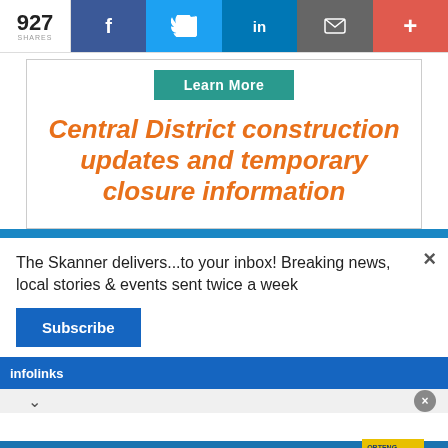927 SHARES | f | tw | in | mail | +
[Figure (screenshot): Advertisement card with teal 'Learn More' button and orange bold italic heading: Central District construction updates and temporary closure information]
Central District construction updates and temporary closure information
The Skanner delivers...to your inbox! Breaking news, local stories & events sent twice a week
Subscribe
[Figure (screenshot): Infolinks blue bar logo at bottom of newsletter popup]
[Figure (screenshot): Bottom advertisement banner: INDEPENDENT POWUR CONSULTANT - PANELES SOLARES + BATERIA - SE BUSCAN VENDEDORES - 310-467-5410 - OBTENG UN BONO INSTALACI... $1,000 CASH]